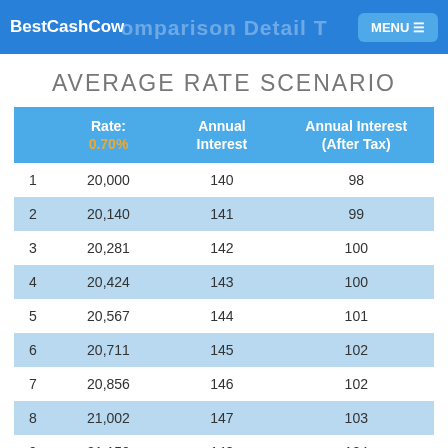BestCashCow  Comparison Detail Table  MENU
AVERAGE RATE SCENARIO
|  | Rate: 0.70% | Annual Interest | Annual Interest (After Tax) |
| --- | --- | --- | --- |
| 1 | 20,000 | 140 | 98 |
| 2 | 20,140 | 141 | 99 |
| 3 | 20,281 | 142 | 100 |
| 4 | 20,424 | 143 | 100 |
| 5 | 20,567 | 144 | 101 |
| 6 | 20,711 | 145 | 102 |
| 7 | 20,856 | 146 | 102 |
| 8 | 21,002 | 147 | 103 |
| 9 | 21,150 | 148 | 104 |